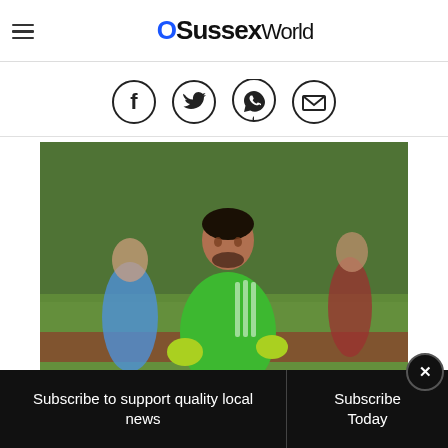Sussex World
[Figure (other): Social sharing icons: Facebook, Twitter, WhatsApp, Email — each in a circle]
[Figure (photo): A goalkeeper in a green kit standing on a football pitch, with players in blue and red in the background]
Subscribe to support quality local news
Subscribe Today